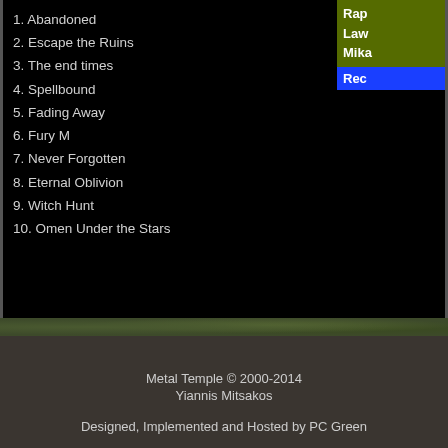1. Abandoned
2. Escape the Ruins
3. The end times
4. Spellbound
5. Fading Away
6. Fury M
7. Never Forgotten
8. Eternal Oblivion
9. Witch Hunt
10. Omen Under the Stars
Metal Temple © 2000-2014
Yiannis Mitsakos

Designed, Implemented and Hosted by PC Green